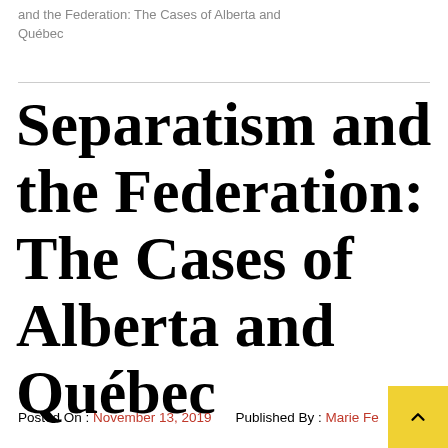and the Federation: The Cases of Alberta and Québec
Separatism and the Federation: The Cases of Alberta and Québec
Posted On : November 13, 2019    Published By : Marie Fester